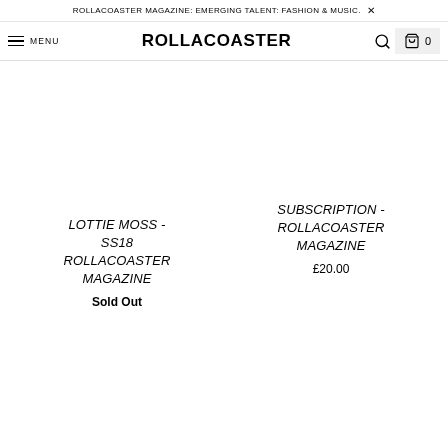ROLLACOASTER MAGAZINE: EMERGING TALENT: FASHION & MUSIC. ×
MENU  ROLLACOASTER  🔍  🛍 0
LOTTIE MOSS - SS18 ROLLACOASTER MAGAZINE
Sold Out
SUBSCRIPTION - ROLLACOASTER MAGAZINE
£20.00